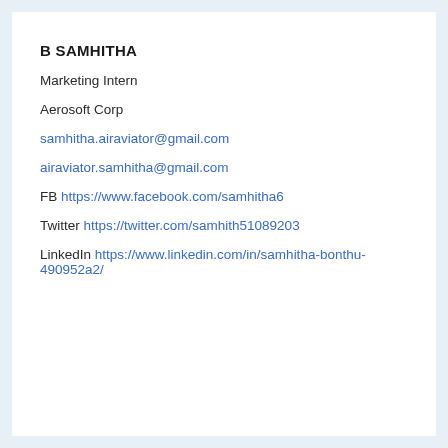B SAMHITHA
Marketing Intern
Aerosoft Corp
samhitha.airaviator@gmail.com
airaviator.samhitha@gmail.com
FB https://www.facebook.com/samhitha6
Twitter https://twitter.com/samhith51089203
LinkedIn https://www.linkedin.com/in/samhitha-bonthu-490952a2/